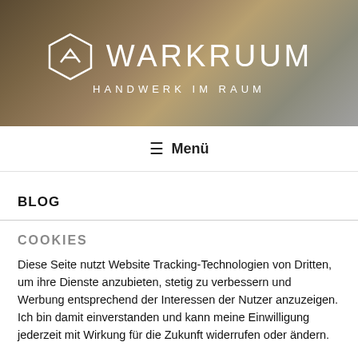[Figure (logo): Warkruum logo with hexagon icon and text 'WARKRUUM HANDWERK IM RAUM' on a warm brown/grey background photo of cushions and furniture]
≡ Menü
BLOG
COOKIES
Diese Seite nutzt Website Tracking-Technologien von Dritten, um ihre Dienste anzubieten, stetig zu verbessern und Werbung entsprechend der Interessen der Nutzer anzuzeigen. Ich bin damit einverstanden und kann meine Einwilligung jederzeit mit Wirkung für die Zukunft widerrufen oder ändern.
Cookie Einstellungen | Alle akzeptieren